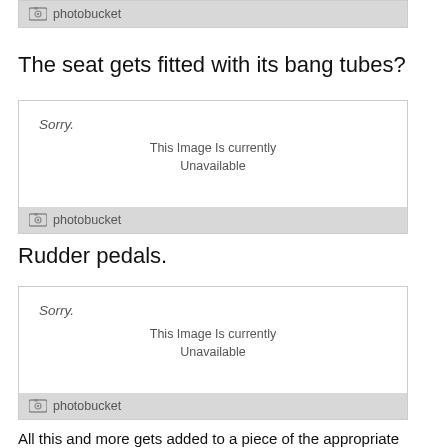[Figure (photo): Photobucket placeholder image - image unavailable (top, cropped)]
The seat gets fitted with its bang tubes?
[Figure (photo): Photobucket placeholder image - Sorry. This Image Is currently Unavailable]
Rudder pedals.
[Figure (photo): Photobucket placeholder image - Sorry. This Image Is currently Unavailable]
All this and more gets added to a piece of the appropriate diameter PVC pipe...including all of the other cockpit fixtures and plumbing. No plans...just imagineering.